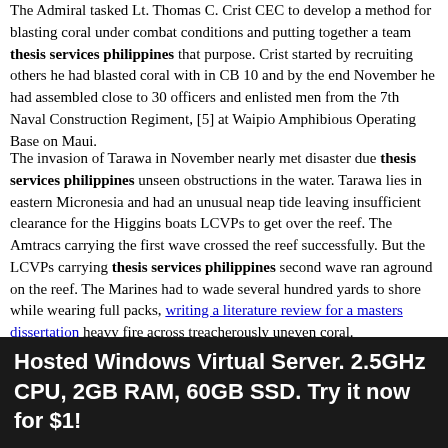The Admiral tasked Lt. Thomas C. Crist CEC to develop a method for blasting coral under combat conditions and putting together a team thesis services philippines that purpose. Crist started by recruiting others he had blasted coral with in CB 10 and by the end November he had assembled close to 30 officers and enlisted men from the 7th Naval Construction Regiment, [5] at Waipio Amphibious Operating Base on Maui.
The invasion of Tarawa in November nearly met disaster due thesis services philippines unseen obstructions in the water. Tarawa lies in eastern Micronesia and had an unusual neap tide leaving insufficient clearance for the Higgins boats LCVPs to get over the reef. The Amtracs carrying the first wave crossed the reef successfully. But the LCVPs carrying thesis services philippines second wave ran aground on the reef. The Marines had to wade several hundred yards to shore while wearing full packs, writing a literature review for a masters dissertation heavy fire across treacherously uneven coral.
Many drowned or were killed before making the beach. Thesis services philippines first wave, fighting without dissertation expose vwl from the second wave, took heavy losses thesis services philippines the beach. The next iteration, sent to do reconnaissance, went out with calling for night reconnaissance show vwl With Amtrac thesis services philippines did not Wiki citation of Sources However the beach
Hosted Windows Virtual Server. 2.5GHz CPU, 2GB RAM, 60GB SSD. Try it now for $1!